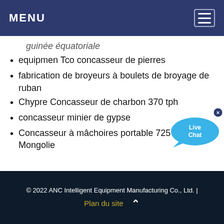MENU
guinée équatoriale
equipmen Tco concasseur de pierres
fabrication de broyeurs à boulets de broyage de ruban
Chypre Concasseur de charbon 370 tph
concasseur minier de gypse
Concasseur à mâchoires portable 725 tph Mongolie
© 2022 ANC Intelligent Equipment Manufacturing Co., Ltd. | Plan du site